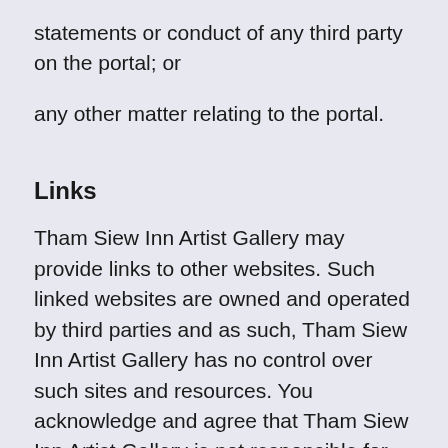statements or conduct of any third party on the portal; or
any other matter relating to the portal.
Links
Tham Siew Inn Artist Gallery may provide links to other websites. Such linked websites are owned and operated by third parties and as such, Tham Siew Inn Artist Gallery has no control over such sites and resources. You acknowledge and agree that Tham Siew Inn Artist Gallery is not responsible for the availability of such external sites or resources, and does not endorse and is not